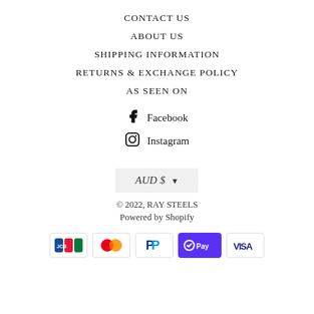CONTACT US
ABOUT US
SHIPPING INFORMATION
RETURNS & EXCHANGE POLICY
AS SEEN ON
Facebook
Instagram
AUD $
© 2022, RAY STEELS
Powered by Shopify
[Figure (other): Payment method icons: JCB, Mastercard, PayPal, Shop Pay, Visa]